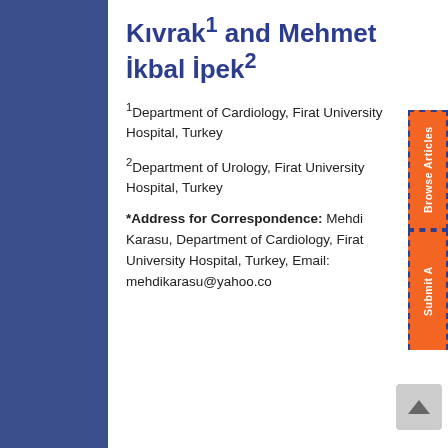Kıvrak¹ and Mehmet İkbal İpek²
¹Department of Cardiology, Firat University Hospital, Turkey
²Department of Urology, Firat University Hospital, Turkey
*Address for Correspondence: Mehdi Karasu, Department of Cardiology, Firat University Hospital, Turkey, Email: mehdikarasu@yahoo.co